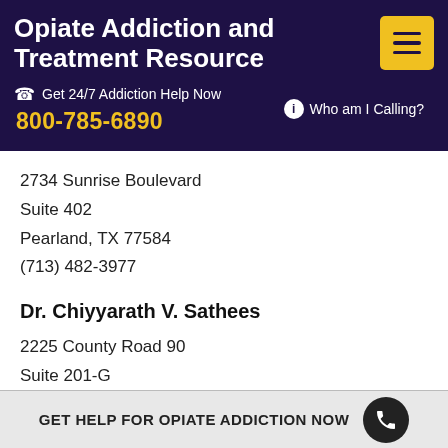Opiate Addiction and Treatment Resource
Get 24/7 Addiction Help Now
800-785-6890
Who am I Calling?
2734 Sunrise Boulevard
Suite 402
Pearland, TX 77584
(713) 482-3977
Dr. Chiyyarath V. Sathees
2225 County Road 90
Suite 201-G
Pearland, TX 77584
(832) 654-4390
GET HELP FOR OPIATE ADDICTION NOW